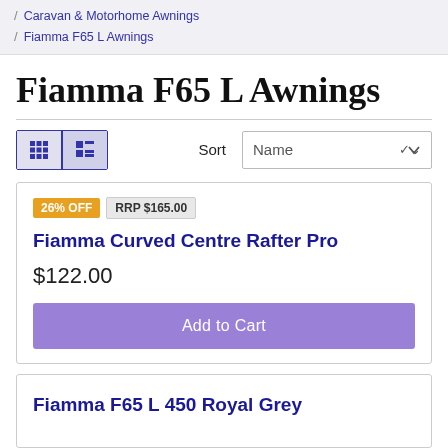/ Caravan & Motorhome Awnings / Fiamma F65 L Awnings
Fiamma F65 L Awnings
Sort Name
26% OFF RRP $165.00
Fiamma Curved Centre Rafter Pro
$122.00
Add to Cart
Fiamma F65 L 450 Royal Grey